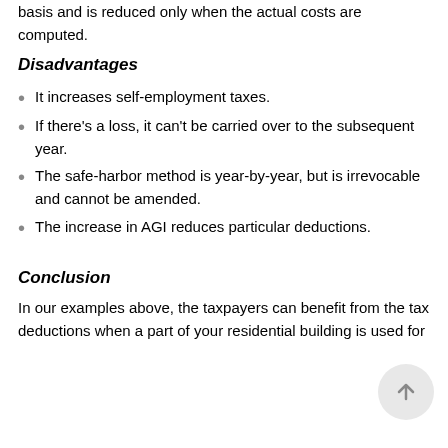basis and is reduced only when the actual costs are computed.
Disadvantages
It increases self-employment taxes.
If there's a loss, it can't be carried over to the subsequent year.
The safe-harbor method is year-by-year, but is irrevocable and cannot be amended.
The increase in AGI reduces particular deductions.
Conclusion
In our examples above, the taxpayers can benefit from the tax deductions when a part of your residential building is used for